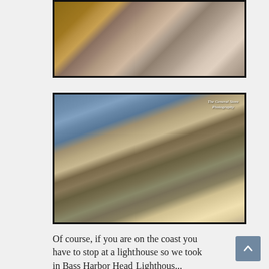[Figure (photo): Close-up photograph of large granite rocks with orange and brown lichen, shot from a low angle looking up]
[Figure (photo): Coastal tide pool photograph showing clear shallow water over rocks with colorful algae and seaweed, smooth granite rocks in foreground, small rounded pebbles, blue sky reflection. Watermark reads 'The General Store Photography']
Of course, if you are on the coast you have to stop at a lighthouse so we took in Bass Harbor Head Lighthouse...